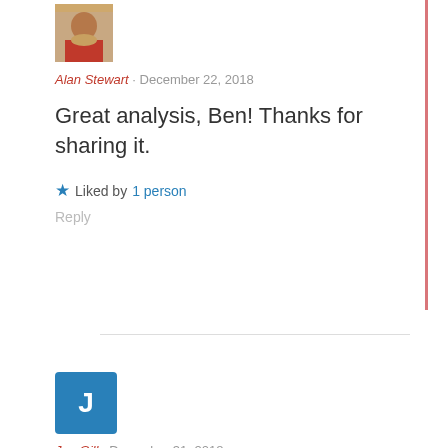[Figure (photo): Avatar photo of Alan Stewart - woman in red shirt]
Alan Stewart · December 22, 2018
Great analysis, Ben! Thanks for sharing it.
★ Liked by 1 person
Reply
[Figure (illustration): Avatar with letter J on blue background for Joe Gill]
Joe Gill · December 31, 2018